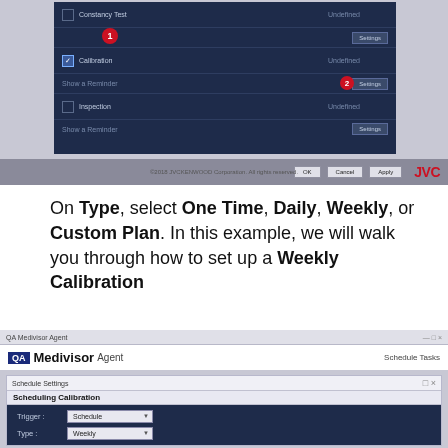[Figure (screenshot): QA Medivisor Agent Schedule Tasks dialog showing Constancy Test, Calibration (checked), and Inspection rows with Settings buttons. Badge 1 points to Constancy Test area, Badge 2 points to Settings button for Calibration.]
On Type, select One Time, Daily, Weekly, or Custom Plan. In this example, we will walk you through how to set up a Weekly Calibration
[Figure (screenshot): QA Medivisor Agent window showing Schedule Tasks pane with a Scheduling Calibration dialog open. Trigger is set to Schedule, Type is set to Weekly.]